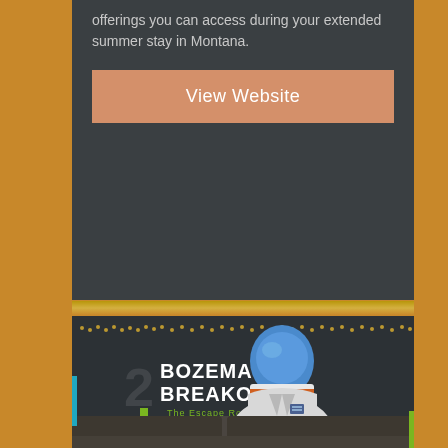offerings you can access during your extended summer stay in Montana.
View Website
[Figure (photo): Photo of a person wearing a white lab coat and a blue astronaut helmet, standing in front of a dark background with the 'Bozeman Breakout - The Escape Room' logo. The '2' is visible on the left side of the logo in green. A leather couch is visible in the foreground. Decorative string lights are visible along the top edge of the scene.]